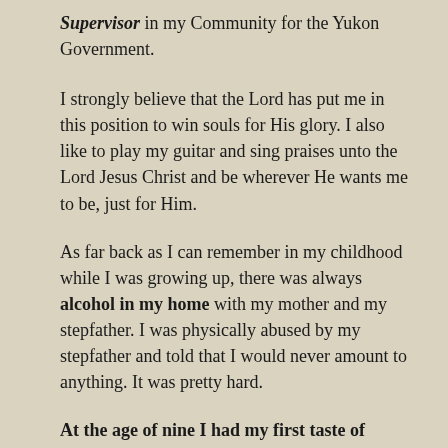Supervisor in my Community for the Yukon Government.
I strongly believe that the Lord has put me in this position to win souls for His glory. I also like to play my guitar and sing praises unto the Lord Jesus Christ and be wherever He wants me to be, just for Him.
As far back as I can remember in my childhood while I was growing up, there was always alcohol in my home with my mother and my stepfather. I was physically abused by my stepfather and told that I would never amount to anything. It was pretty hard.
At the age of nine I had my first taste of alcohol